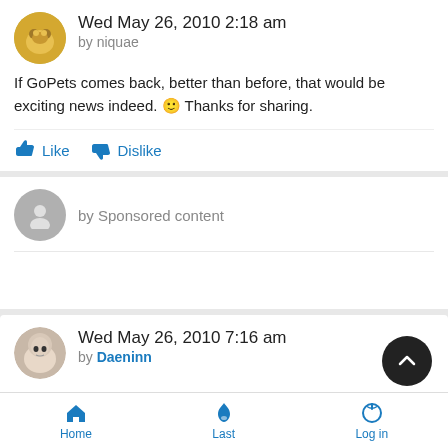Wed May 26, 2010 2:18 am by niquae
If GoPets comes back, better than before, that would be exciting news indeed. 🙂 Thanks for sharing.
Like   Dislike
by Sponsored content
Wed May 26, 2010 7:16 am by Daeninn
Well that explains why Zynga hasn't done anything with it. I only
Home   Last   Log in